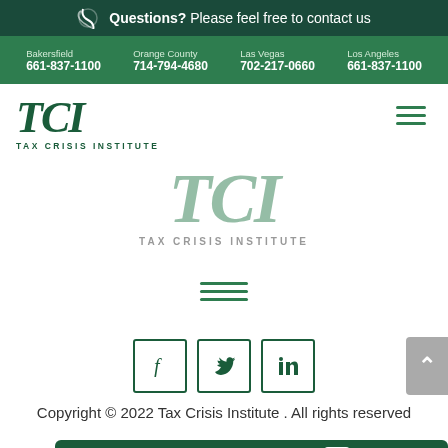Questions? Please feel free to contact us
Bakersfield 661-837-1100 | Orange County 714-794-4680 | Las Vegas 702-217-0660 | Los Angeles 661-837-1100
[Figure (logo): TCI Tax Crisis Institute logo, top left]
[Figure (infographic): Hamburger menu icon, top right]
[Figure (logo): TCI Tax Crisis Institute large center logo, partially faded]
[Figure (infographic): Hamburger menu icon, center]
[Figure (infographic): Social media icons: Facebook, Twitter, LinkedIn in outlined square boxes]
Copyright © 2022 Tax Crisis Institute . All rights reserved
We're online. Chat Now.